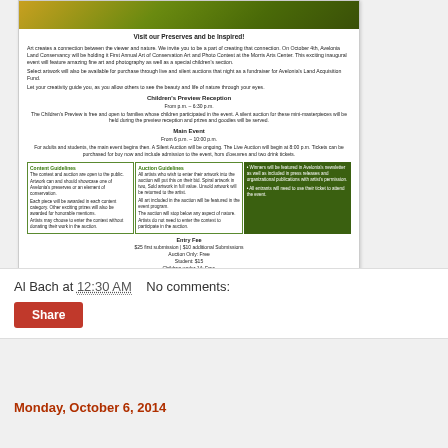[Figure (photo): Nature/foliage image banner at top of document card]
Visit our Preserves and be Inspired!
Art creates a connection between the viewer and nature. We invite you to be a part of creating that connection. On October 4th, Avelonia Land Conservancy will be holding it First Annual Art of Conservation Art and Photo Contest at the Morris Arts Center. This exciting inaugural event will feature amazing fine art and photography as well as a special children's section.
Select artwork will also be available for purchase through live and silent auctions that night as a fundraiser for Avelonia's Land Acquisition Fund.
Let your creativity guide you, as you allow others to see the beauty and life of nature through your eyes.
Children's Preview Reception
From p.m. – 6:30 p.m.
The Children's Preview is free and open to families whose children participated in the event. A silent auction for these mini-masterpieces will be held during the preview reception and prizes and goodies will be served.
Main Event
From 6 p.m. – 10:00 p.m.
For adults and students, the main event begins then. A Silent Auction will be ongoing. The Live Auction will begin at 8:00 p.m. Tickets can be purchased for buy now and include admission to the event, hors d'oeuvres and two drink tickets.
| Content Guidelines | Auction Guidelines |  |
| --- | --- | --- |
| The contest and auction are open to the public. | All artists who wish to enter their artwork into the auction will put this on their bid. Spiral artwork in two, Sold artwork in full value. Unsold artwork will be returned to the artist. | Winners will be featured in Avelonia's newsletter as well as included in press releases and organizational publications with artist's permission. |
| Artwork can and should showcase one of Avelonia's preserves or an element of conservation. | All art included in the auction will be featured in the event program. | All entrants will need to use their ticket to attend the event. |
| Each piece will be awarded in each content category. Other exciting prizes will also be awarded for honorable mentions. | The auction will stop below any aspect of nature. |  |
| Artists may choose to enter the contest without donating their work in the auction. | Artists do not need to enter the contest to participate in the auction. |  |
Entry Fee
$25 first submission | $10 additional Submissions
Auction Only: Free
Student: $15
Children under 14: Free
Al Bach at 12:30 AM    No comments:
Share
Monday, October 6, 2014